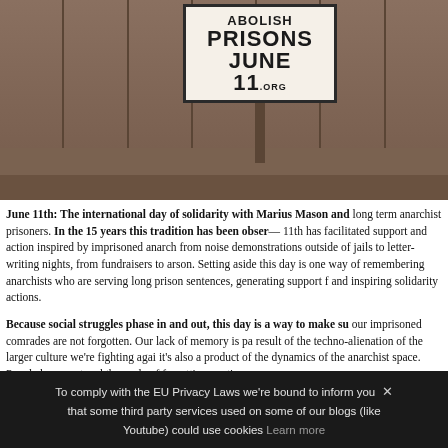[Figure (photo): Protest sign reading 'ABOLISH PRISONS JUNE 11 .org' mounted on a pole, with wooden fence boards in the background.]
June 11th: The international day of solidarity with Marius Mason and long term anarchist prisoners. In the 15 years this tradition has been observed, June 11th has facilitated support and action inspired by imprisoned anarchists, from noise demonstrations outside of jails to letter-writing nights, from fundraisers to arson. Setting aside this day is one way of remembering those anarchists who are serving long prison sentences, generating support for them, and inspiring solidarity actions.
Because social struggles phase in and out, this day is a way to make sure our imprisoned comrades are not forgotten. Our lack of memory is partly a result of the techno-alienation of the larger culture we're fighting against, but it's also a product of the dynamics of the anarchist space. People become burnt out and the cycle of forgetting continues.
June 11th is a way of combating that amnesia, of trying to sustain a long memory in the anarchist space. Not only does this generate support fo
To comply with the EU Privacy Laws we're bound to inform you × that some third party services used on some of our blogs (like Youtube) could use cookies Learn more